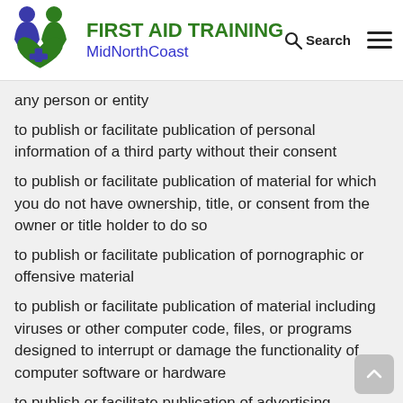FIRST AID TRAINING MidNorthCoast
any person or entity
to publish or facilitate publication of personal information of a third party without their consent
to publish or facilitate publication of material for which you do not have ownership, title, or consent from the owner or title holder to do so
to publish or facilitate publication of pornographic or offensive material
to publish or facilitate publication of material including viruses or other computer code, files, or programs designed to interrupt or damage the functionality of computer software or hardware
to publish or facilitate publication of advertising material for yourself or any other party without our express consent to do